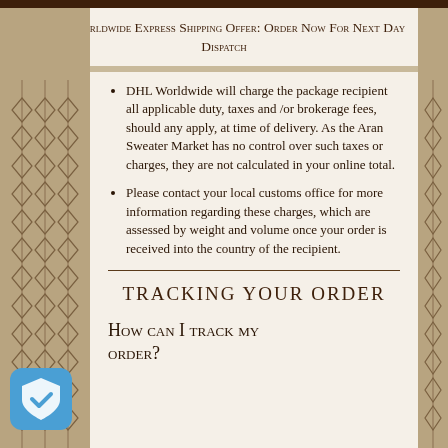Free Worldwide Express Shipping Offer: Order Now For Next Day Dispatch
DHL Worldwide will charge the package recipient all applicable duty, taxes and /or brokerage fees, should any apply, at time of delivery. As the Aran Sweater Market has no control over such taxes or charges, they are not calculated in your online total.
Please contact your local customs office for more information regarding these charges, which are assessed by weight and volume once your order is received into the country of the recipient.
TRACKING YOUR ORDER
How can I track my order?